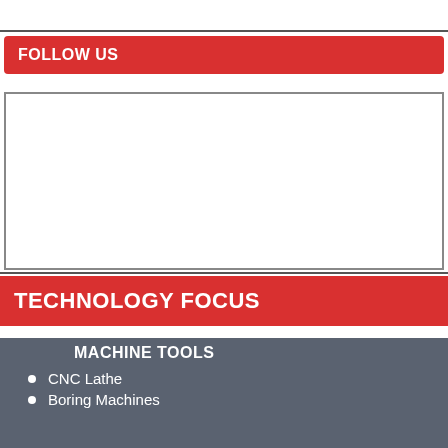FOLLOW US
[Figure (other): Social media follow widget area — blank white box with border]
TECHNOLOGY FOCUS
MACHINE TOOLS
CNC Lathe
Boring Machines